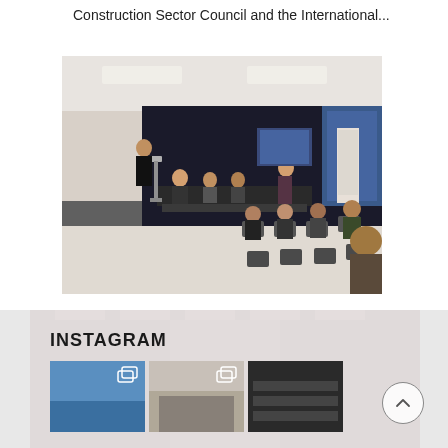Construction Sector Council and the International...
[Figure (photo): Indoor event or meeting photo showing people seated in chairs facing a panel table at the front of a room. A presenter stands near a podium on the left. Black curtains and large windows with a blue evening view are visible in the background. A roll-up banner stand is visible on the right side.]
INSTAGRAM
[Figure (photo): Instagram thumbnail 1 - appears to show a blue sky or aerial scene with a duplicate icon overlay]
[Figure (photo): Instagram thumbnail 2 - appears to show an indoor venue or room with a duplicate icon overlay]
[Figure (photo): Instagram thumbnail 3 - appears to show dark industrial or construction equipment]